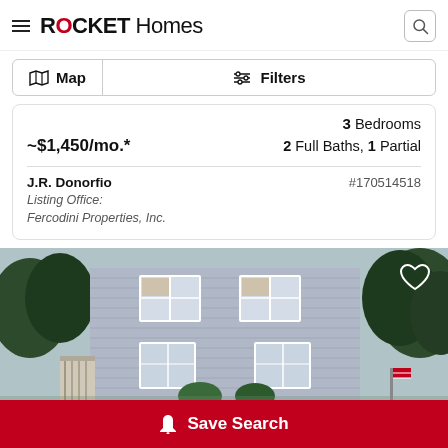ROCKET Homes
Map | Filters
3 Bedrooms
~$1,450/mo.* | 2 Full Baths, 1 Partial
J.R. Donorfio | #170514518
Listing Office: Fercodini Properties, Inc.
[Figure (photo): Exterior photo of a multi-story blue/gray sided house with white-trimmed windows, surrounded by green trees, with a partial deck visible on the left.]
Save Search